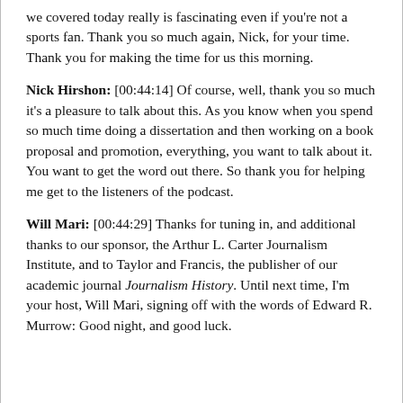we covered today really is fascinating even if you're not a sports fan. Thank you so much again, Nick, for your time. Thank you for making the time for us this morning.
Nick Hirshon: [00:44:14] Of course, well, thank you so much it's a pleasure to talk about this. As you know when you spend so much time doing a dissertation and then working on a book proposal and promotion, everything, you want to talk about it. You want to get the word out there. So thank you for helping me get to the listeners of the podcast.
Will Mari: [00:44:29] Thanks for tuning in, and additional thanks to our sponsor, the Arthur L. Carter Journalism Institute, and to Taylor and Francis, the publisher of our academic journal Journalism History. Until next time, I'm your host, Will Mari, signing off with the words of Edward R. Murrow: Good night, and good luck.